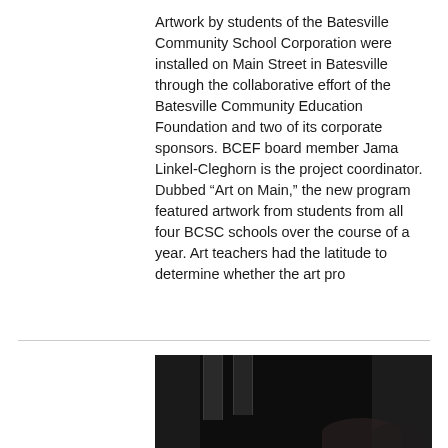Artwork by students of the Batesville Community School Corporation were installed on Main Street in Batesville through the collaborative effort of the Batesville Community Education Foundation and two of its corporate sponsors. BCEF board member Jama Linkel-Cleghorn is the project coordinator. Dubbed “Art on Main,” the new program featured artwork from students from all four BCSC schools over the course of a year. Art teachers had the latitude to determine whether the art pro
[Figure (photo): A dark photograph showing what appears to be a stage or formal setting with curtains in the background and columns visible. Some figures are partially visible at the bottom right of the image.]